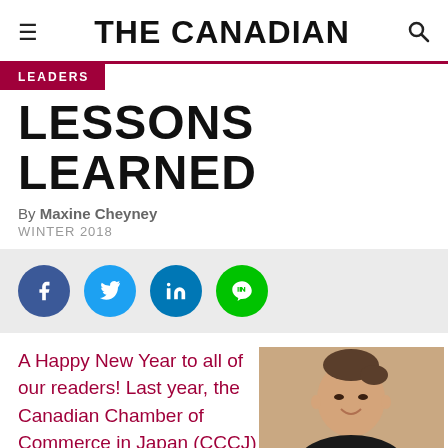THE CANADIAN
LEADERS
LESSONS LEARNED
By Maxine Cheyney
WINTER 2018
[Figure (infographic): Social media share icons: Facebook (dark blue), Twitter (blue), LinkedIn (teal blue), Line (green)]
A Happy New Year to all of our readers! Last year, the Canadian Chamber of Commerce in Japan (CCCJ)
[Figure (photo): Portrait photo of a smiling woman with hair up, wearing a black top]